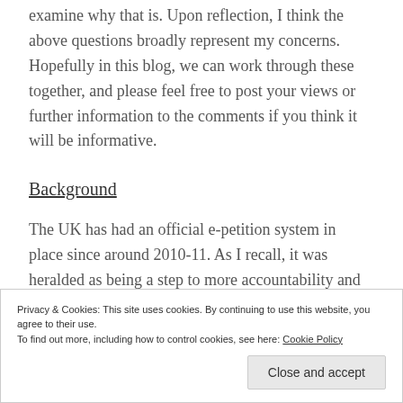examine why that is. Upon reflection, I think the above questions broadly represent my concerns. Hopefully in this blog, we can work through these together, and please feel free to post your views or further information to the comments if you think it will be informative.
Background
The UK has had an official e-petition system in place since around 2010-11. As I recall, it was heralded as being a step to more accountability and transparency
Privacy & Cookies: This site uses cookies. By continuing to use this website, you agree to their use.
To find out more, including how to control cookies, see here: Cookie Policy